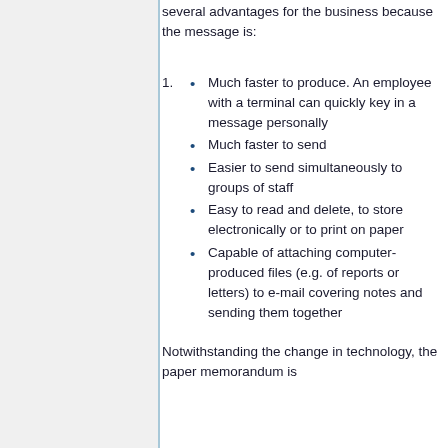several advantages for the business because the message is:
Much faster to produce. An employee with a terminal can quickly key in a message personally
Much faster to send
Easier to send simultaneously to groups of staff
Easy to read and delete, to store electronically or to print on paper
Capable of attaching computer-produced files (e.g. of reports or letters) to e-mail covering notes and sending them together
Notwithstanding the change in technology, the paper memorandum is